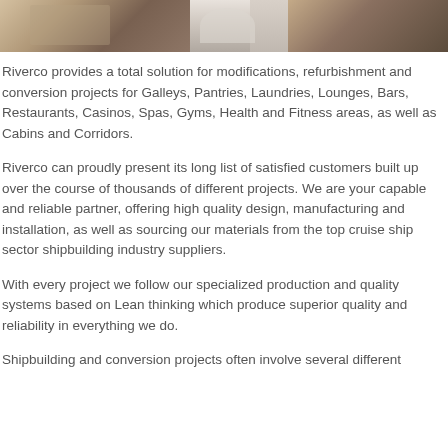[Figure (photo): Interior photo strip showing cruise ship lounge/cabin area with decorative carpet, white table, and upholstered seating]
Riverco provides a total solution for modifications, refurbishment and conversion projects for Galleys, Pantries, Laundries, Lounges, Bars, Restaurants, Casinos, Spas, Gyms, Health and Fitness areas, as well as Cabins and Corridors.
Riverco can proudly present its long list of satisfied customers built up over the course of thousands of different projects. We are your capable and reliable partner, offering high quality design, manufacturing and installation, as well as sourcing our materials from the top cruise ship sector shipbuilding industry suppliers.
With every project we follow our specialized production and quality systems based on Lean thinking which produce superior quality and reliability in everything we do.
Shipbuilding and conversion projects often involve several different